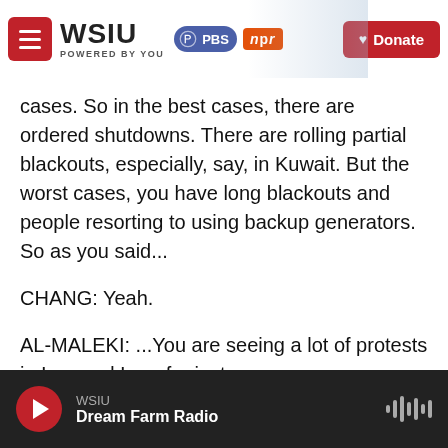WSIU POWERED BY YOU | PBS | npr | Donate
cases. So in the best cases, there are ordered shutdowns. There are rolling partial blackouts, especially, say, in Kuwait. But the worst cases, you have long blackouts and people resorting to using backup generators. So as you said...
CHANG: Yeah.
AL-MALEKI: ...You are seeing a lot of protests in Iran and Iraq, for instance...
CHANG: Well...
WSIU | Dream Farm Radio